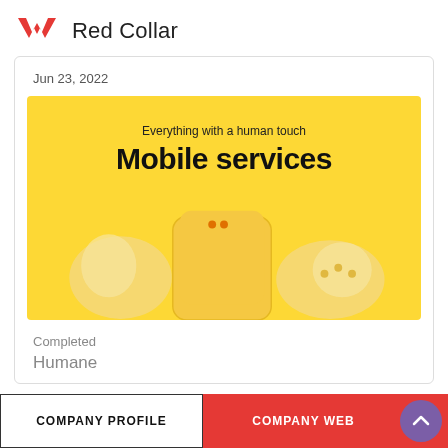Red Collar
Jun 23, 2022
[Figure (illustration): Yellow background banner image with text 'Everything with a human touch' and 'Mobile services' in bold, with yellow 3D phone and earbuds decorative elements]
Completed
Humane